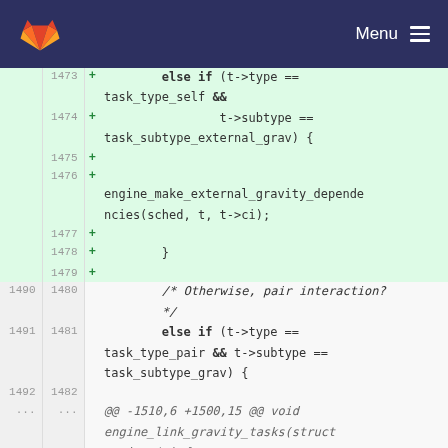Menu
Code diff view showing lines 1473-1492 and 1480-1482 with added lines (green) for else if (t->type == task_type_self && t->subtype == task_subtype_external_grav) { engine_make_external_gravity_dependencies(sched, t, t->ci); } and normal lines for /* Otherwise, pair interaction? */ else if (t->type == task_type_pair && t->subtype == task_subtype_grav) { and @@ -1510,6 +1500,15 @@ void engine_link_gravity_tasks(struct engine *e) {